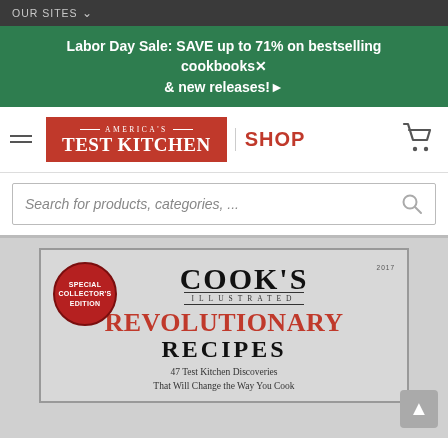OUR SITES ▾
Labor Day Sale: SAVE up to 71% on bestselling cookbooks & new releases!▶
[Figure (logo): America's Test Kitchen Shop logo with hamburger menu and shopping cart icon]
Search for products, categories, ...
[Figure (photo): Cook's Illustrated Revolutionary Recipes book cover — Special Collector's Edition. 47 Test Kitchen Discoveries That Will Change the Way You Cook.]